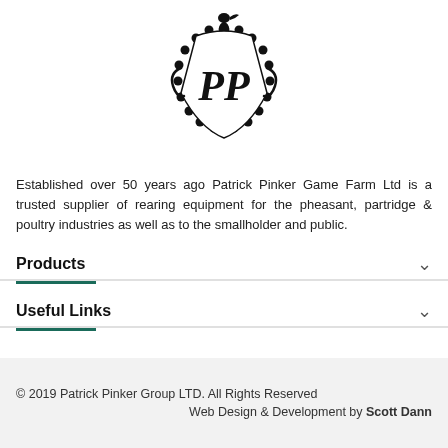[Figure (logo): Patrick Pinker Game Farm Ltd heraldic crest logo with 'PP' monogram, bird on top, decorative shield and beaded border]
Established over 50 years ago Patrick Pinker Game Farm Ltd is a trusted supplier of rearing equipment for the pheasant, partridge & poultry industries as well as to the smallholder and public.
Products
Useful Links
© 2019 Patrick Pinker Group LTD. All Rights Reserved
Web Design & Development by Scott Dann